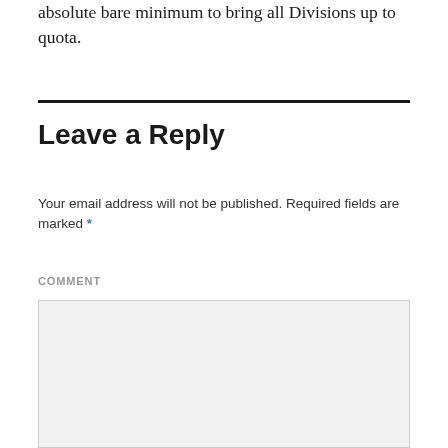absolute bare minimum to bring all Divisions up to quota.
Leave a Reply
Your email address will not be published. Required fields are marked *
COMMENT